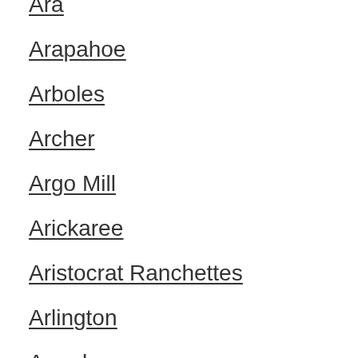Ara
Arapahoe
Arboles
Archer
Argo Mill
Arickaree
Aristocrat Ranchettes
Arlington
Armel
Aroya
Arriba